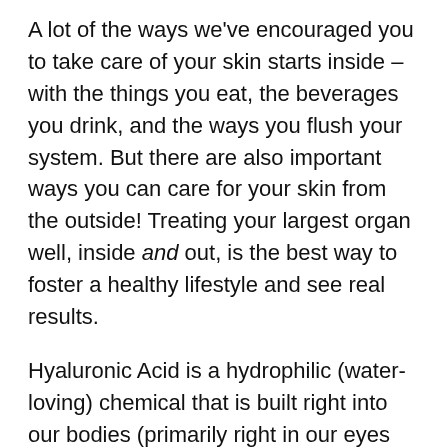A lot of the ways we've encouraged you to take care of your skin starts inside – with the things you eat, the beverages you drink, and the ways you flush your system. But there are also important ways you can care for your skin from the outside! Treating your largest organ well, inside and out, is the best way to foster a healthy lifestyle and see real results.
Hyaluronic Acid is a hydrophilic (water-loving) chemical that is built right into our bodies (primarily right in our eyes and joints). It's like a natural moisturizer – it's hydrating properties have been used to treat everything from cataracts and arthritis, to dry eyes. So it should be no surprise that we want to encourage you to use Hyaluronic Acid right on your skin, too!
As we age, our skin's ability to preserve moisture slows